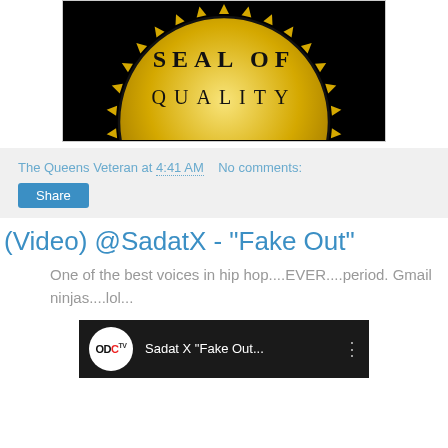[Figure (illustration): Partial view of a gold seal of quality badge on black background, showing the text 'SEAL OF QUALITY' in black serif letters with a sunburst border.]
The Queens Veteran at 4:41 AM    No comments:
Share
(Video) @SadatX - "Fake Out"
One of the best voices in hip hop....EVER....period. Gmail ninjas....lol...
[Figure (screenshot): Video thumbnail showing ODC TV logo and text 'Sadat X "Fake Out...' with a menu icon on dark background.]